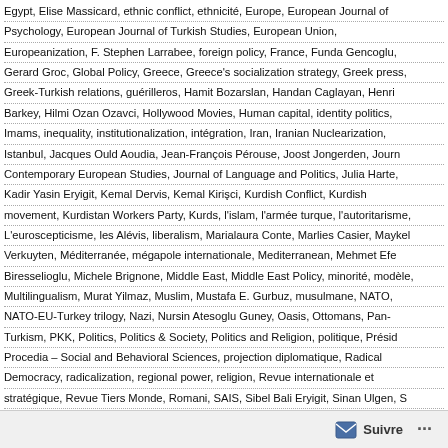Egypt, Elise Massicard, ethnic conflict, ethnicité, Europe, European Journal of Psychology, European Journal of Turkish Studies, European Union, Europeanization, F. Stephen Larrabee, foreign policy, France, Funda Gencoglu, Gerard Groc, Global Policy, Greece, Greece's socialization strategy, Greek press, Greek-Turkish relations, guérilleros, Hamit Bozarslan, Handan Caglayan, Henri Barkey, Hilmi Ozan Ozavci, Hollywood Movies, Human capital, identity politics, Imams, inequality, institutionalization, intégration, Iran, Iranian Nuclearization, Istanbul, Jacques Ould Aoudia, Jean-François Pérouse, Joost Jongerden, Journal of Contemporary European Studies, Journal of Language and Politics, Julia Harte, Kadir Yasin Eryigit, Kemal Dervis, Kemal Kirişci, Kurdish Conflict, Kurdish movement, Kurdistan Workers Party, Kurds, l'islam, l'armée turque, l'autoritarisme, L'euroscepticisme, les Alévis, liberalism, Marialaura Conte, Marlies Casier, Maykel Verkuyten, Méditerranée, mégapole internationale, Mediterranean, Mehmet Efe Biresselioglu, Michele Brignone, Middle East, Middle East Policy, minorité, modèle, Multilingualism, Murat Yilmaz, Muslim, Mustafa E. Gurbuz, musulmane, NATO, NATO-EU-Turkey trilogy, Nazi, Nursin Atesoglu Guney, Oasis, Ottomans, Pan-Turkism, PKK, Politics, Politics & Society, Politics and Religion, politique, Présidence, Procedia – Social and Behavioral Sciences, projection diplomatique, Radical Democracy, radicalization, regional power, religion, Revue internationale et stratégique, Revue Tiers Monde, Romani, SAIS, Sibel Bali Eryigit, Sinan Ulgen, Sinem Akgul Acikmese, socialisation, sources, South Eastern Europe, Southeast European and Black Sea Studies, stereotype, Structural Breaks, Survival, Syrie, Tarik Oguzlu, Thanos Veremis, TIKA, turcoscepticisme, Turcs, Turkish Language, Turkish Nuclear Security, Turkish studies, Turkish-American alliance, Turkish–Iranian Competition, Turquie, Ufuk Selen, Welfare, Westernization, World Policy Journal, Yasemin Akbulut, YOK, Zana Çıtak, Zekiye Antakyalioglu, Zeynep Taydas, Iştar B. Gözaydın
add a comment
Suivre